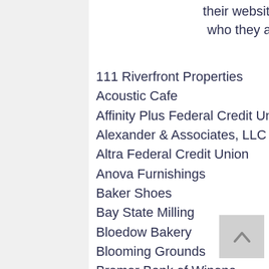their website to learn more about who they are and what they do!
111 Riverfront Properties
Acoustic Cafe
Affinity Plus Federal Credit Union
Alexander & Associates, LLC
Altra Federal Credit Union
Anova Furnishings
Baker Shoes
Bay State Milling
Bloedow Bakery
Blooming Grounds
Bremer Bank of Winona
Children's Dental of Winona
Chrysler Winona
Dahl Cevrolet-Buick-GMC
Days Inn of Winona
DJ's Clothing Warehouse
Flaherty & Hood, P.A.
Grace Place
Great River Shakespeare Festival
Green Thumb Artistry